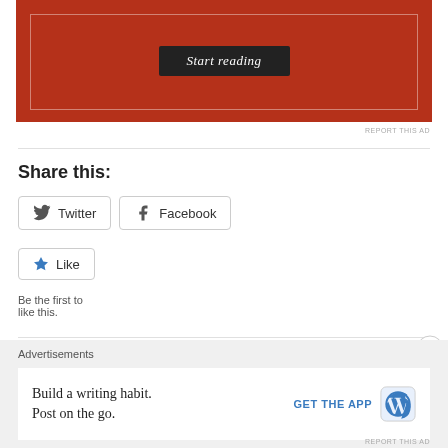[Figure (screenshot): Red advertisement box with 'Start reading' button and inner white border outline]
REPORT THIS AD
Share this:
Twitter
Facebook
Like
Be the first to like this.
Related
What's playing in Madison theaters: March 22-28, 2013
Advertisements
[Figure (infographic): WordPress app advertisement: 'Build a writing habit. Post on the go.' with GET THE APP button and WordPress logo]
REPORT THIS AD